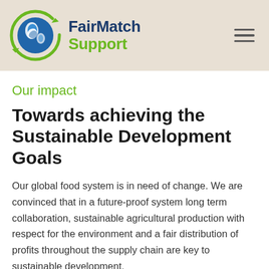FairMatch Support
Our impact
Towards achieving the Sustainable Development Goals
Our global food system is in need of change. We are convinced that in a future-proof system long term collaboration, sustainable agricultural production with respect for the environment and a fair distribution of profits throughout the supply chain are key to sustainable development.